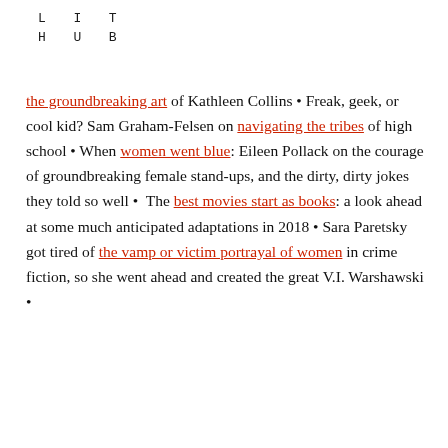LIT HUB
the groundbreaking art of Kathleen Collins • Freak, geek, or cool kid? Sam Graham-Felsen on navigating the tribes of high school • When women went blue: Eileen Pollack on the courage of groundbreaking female stand-ups, and the dirty, dirty jokes they told so well • The best movies start as books: a look ahead at some much anticipated adaptations in 2018 • Sara Paretsky got tired of the vamp or victim portrayal of women in crime fiction, so she went ahead and created the great V.I. Warshawski •